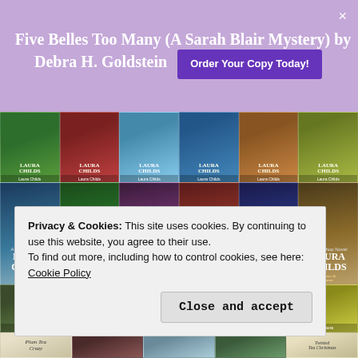Five Belles Too Many (A Sarah Blair Mystery) by Debra H. Goldstein
Order Your Copy Today!
[Figure (photo): Grid of Laura Childs book covers arranged in multiple rows, showing various mystery novels with tea-themed imagery]
Privacy & Cookies: This site uses cookies. By continuing to use this website, you agree to their use.
To find out more, including how to control cookies, see here:
Cookie Policy
Close and accept